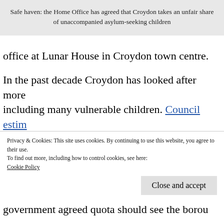Safe haven: the Home Office has agreed that Croydon takes an unfair share of unaccompanied asylum-seeking children
office at Lunar House in Croydon town centre.
In the past decade Croydon has looked after more including many vulnerable children. Council estimates to Croydon at £50million over the last 10 years.
The costs of looking after UASC is supposed government, with local authorities across th
Privacy & Cookies: This site uses cookies. By continuing to use this website, you agree to their use. To find out more, including how to control cookies, see here: Cookie Policy
government agreed quota should see the borough